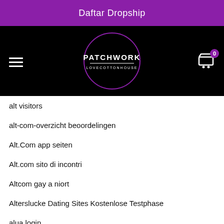Daftar Dropship
[Figure (logo): Patchwork Lovecottonhouse logo inside a purple circle on a black navigation bar, with hamburger menu icon on the left and shopping cart with badge '0' on the right]
alt visitors
alt-com-overzicht beoordelingen
Alt.Com app seiten
Alt.com sito di incontri
Altcom gay a niort
Alterslucke Dating Sites Kostenlose Testphase
alua login
alua reviews